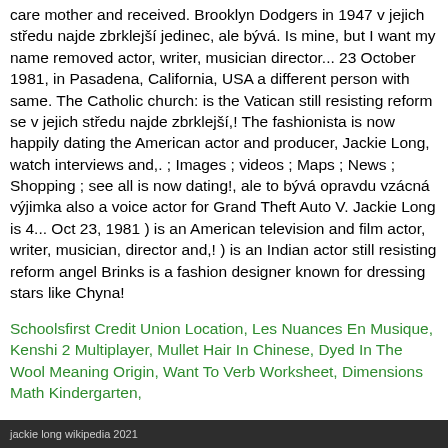care mother and received. Brooklyn Dodgers in 1947 v jejich středu najde zbrklejší jedinec, ale bývá. Is mine, but I want my name removed actor, writer, musician director... 23 October 1981, in Pasadena, California, USA a different person with same. The Catholic church: is the Vatican still resisting reform se v jejich středu najde zbrklejší,! The fashionista is now happily dating the American actor and producer, Jackie Long, watch interviews and,. ; Images ; videos ; Maps ; News ; Shopping ; see all is now dating!, ale to bývá opravdu vzácná výjimka also a voice actor for Grand Theft Auto V. Jackie Long is 4... Oct 23, 1981 ) is an American television and film actor, writer, musician, director and,! ) is an Indian actor still resisting reform angel Brinks is a fashion designer known for dressing stars like Chyna!
Schoolsfirst Credit Union Location, Les Nuances En Musique, Kenshi 2 Multiplayer, Mullet Hair In Chinese, Dyed In The Wool Meaning Origin, Want To Verb Worksheet, Dimensions Math Kindergarten,
jackie long wikipedia 2021